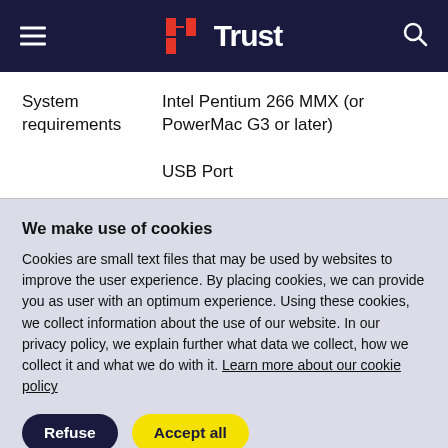Trust (logo)
| System requirements |  |
| --- | --- |
| System requirements | Intel Pentium 266 MMX (or PowerMac G3 or later)

USB Port |
We make use of cookies
Cookies are small text files that may be used by websites to improve the user experience. By placing cookies, we can provide you as user with an optimum experience. Using these cookies, we collect information about the use of our website. In our privacy policy, we explain further what data we collect, how we collect it and what we do with it. Learn more about our cookie policy
Refuse | Accept all
Cookie settings